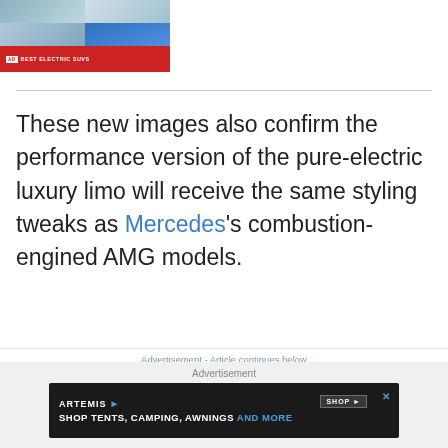[Figure (photo): Grid of electric SUV photos with red badge reading BEST ELECTRIC SUVS]
These new images also confirm the performance version of the pure-electric luxury limo will receive the same styling tweaks as Mercedes’s combustion-engined AMG models.
Advertisement - Article continues below
[Figure (other): Artemis advertisement banner: SHOP TENTS, CAMPING, AWNINGS AND MORE]